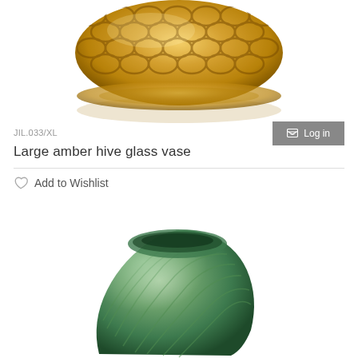[Figure (photo): Top-down view of a large amber/gold honeycomb-textured glass vase, partially cropped at top]
JIL.033/XL
Log in
Large amber hive glass vase
Add to Wishlist
[Figure (photo): Green glass vase with swirling ribbed texture, partially visible at bottom of page]